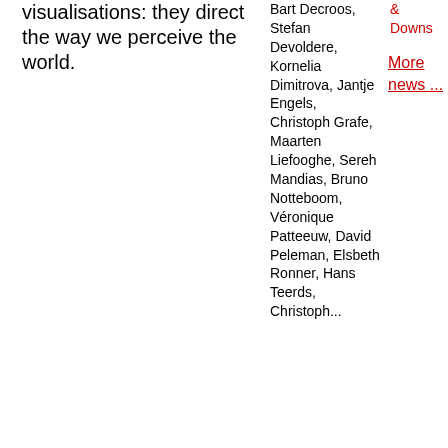visualisations: they direct the way we perceive the world.
Bart Decroos, Stefan Devoldere, Kornelia Dimitrova, Jantje Engels, Christoph Grafe, Maarten Liefooghe, Sereh Mandias, Bruno Notteboom, Véronique Patteeuw, David Peleman, Elsbeth Ronner, Hans Teerds, Christoph...
& Downs
More news ...